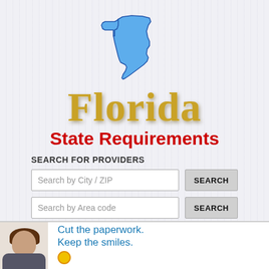[Figure (map): Blue silhouette outline map of the state of Florida]
Florida
State Requirements
SEARCH FOR PROVIDERS
Search by City / ZIP
Search by Area code
[Figure (photo): Bottom advertisement section with a person and text reading 'Cut the paperwork. Keep the smiles.' with a logo icon]